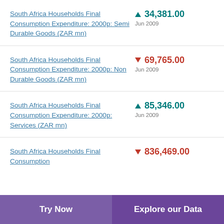South Africa Households Final Consumption Expenditure: 2000p: Semi Durable Goods (ZAR mn)
South Africa Households Final Consumption Expenditure: 2000p: Non Durable Goods (ZAR mn)
South Africa Households Final Consumption Expenditure: 2000p: Services (ZAR mn)
South Africa Households Final Consumption
Try Now | Explore our Data